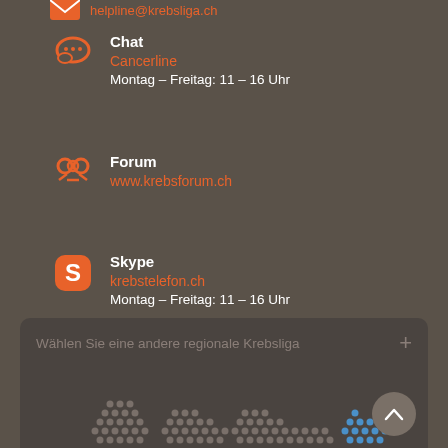helpline@krebsliga.ch (truncated at top)
Chat
Cancerline
Montag – Freitag: 11 – 16 Uhr
Forum
www.krebsforum.ch
Skype
krebstelefon.ch
Montag – Freitag: 11 – 16 Uhr
Zu www.krebsliga.ch
Wählen Sie eine andere regionale Krebsliga +